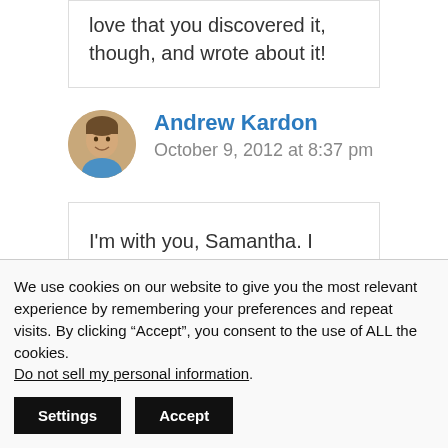love that you discovered it, though, and wrote about it!
Andrew Kardon
October 9, 2012 at 8:37 pm
I'm with you, Samantha. I applaud
We use cookies on our website to give you the most relevant experience by remembering your preferences and repeat visits. By clicking “Accept”, you consent to the use of ALL the cookies. Do not sell my personal information.